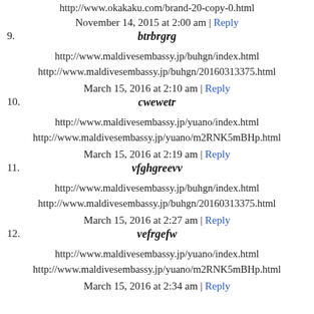http://www.okakaku.com/brand-20-copy-0.html
November 14, 2015 at 2:00 am | Reply
9. btrbrgrg
http://www.maldivesembassy.jp/buhgn/index.html
http://www.maldivesembassy.jp/buhgn/20160313375.html
March 15, 2016 at 2:10 am | Reply
10. cwewetr
http://www.maldivesembassy.jp/yuano/index.html
http://www.maldivesembassy.jp/yuano/m2RNK5mBHp.html
March 15, 2016 at 2:19 am | Reply
11. vfghgreevv
http://www.maldivesembassy.jp/buhgn/index.html
http://www.maldivesembassy.jp/buhgn/20160313375.html
March 15, 2016 at 2:27 am | Reply
12. vefrgefw
http://www.maldivesembassy.jp/yuano/index.html
http://www.maldivesembassy.jp/yuano/m2RNK5mBHp.html
March 15, 2016 at 2:34 am | Reply